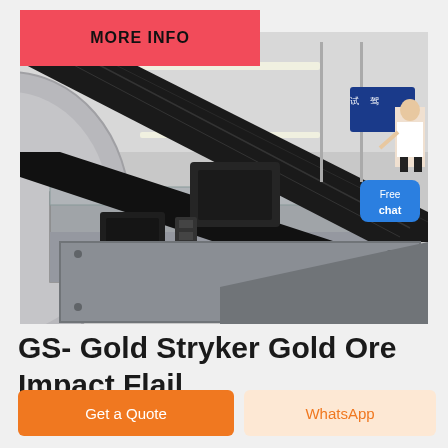MORE INFO
[Figure (photo): Close-up industrial photo of a GS Gold Stryker Gold Ore Impact Flail mill machine showing belt drives, motor mounts, and structural frame in an industrial warehouse setting. A blue 'TRIAL' sign is visible in the background. A 'Free chat' button overlay and a woman figure are visible on the right side.]
GS- Gold Stryker Gold Ore Impact Flail
Get a Quote
WhatsApp